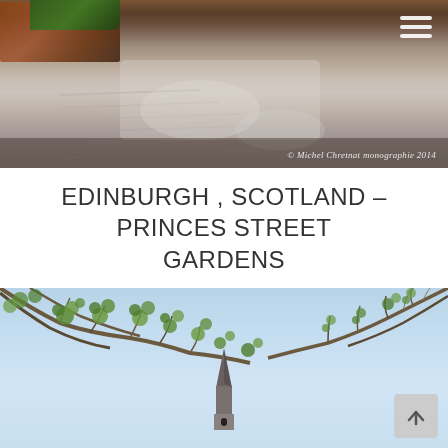[Figure (photo): Wet rain-soaked pavement in Princes Street Gardens Edinburgh with a wooden bench and greenery visible in the top left corner. Copyright watermark reads: © Michel Chretnat monographie 2014]
EDINBURGH , SCOTLAND – PRINCES STREET GARDENS
[Figure (photo): Looking up at a church spire against a blue sky with tree branches (green spring leaves) overhanging from both sides of the frame, taken in Princes Street Gardens Edinburgh.]